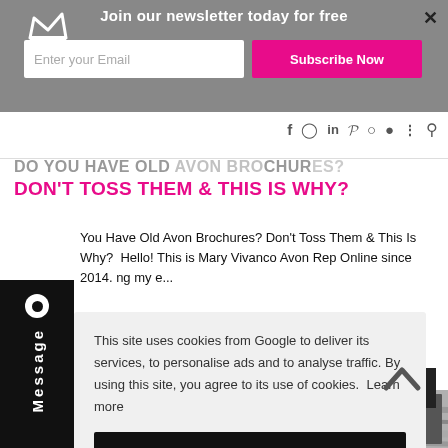Join our newsletter today for free | Enter your Email | Subscribe Now
DO YOU HAVE OLD AVON BROCHURES? DON'T TOSS THEM & THIS IS WHY?
You Have Old Avon Brochures? Don't Toss Them & This Is Why? Hello! This is Mary Vivanco Avon Rep Online since 2014. ng my e...
This site uses cookies from Google to deliver its services, to personalise ads and to analyse traffic. By using this site, you agree to its use of cookies. Learn more
OK
[Figure (photo): Background photo of Avon brochures and products]